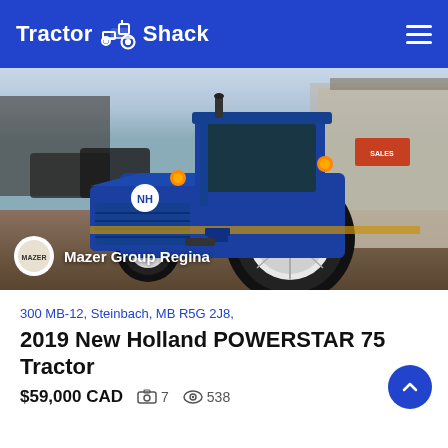Tractor Shack
[Figure (photo): Blue New Holland POWERSTAR 75 tractor parked on a gravel lot in front of a building, with vehicles in the background. A dealer badge shows 'Mazer Group Regina' with a circular logo in the bottom-left corner of the photo.]
300 MB-12, Steinbach, MB R5G 2J8,
2019 New Holland POWERSTAR 75 Tractor
$59,000 CAD  📷 7  👁 538